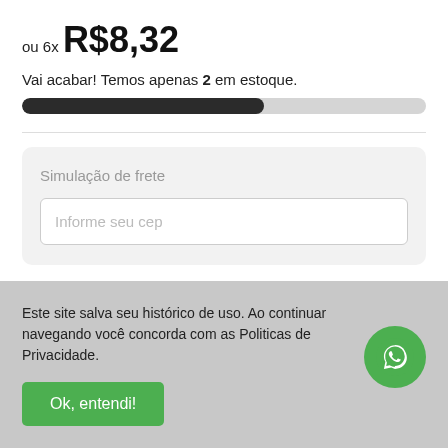ou 6x R$8,32
Vai acabar! Temos apenas 2 em estoque.
[Figure (infographic): Progress bar showing stock level, approximately 60% filled in dark color on light gray background]
Simulação de frete
Informe seu cep
Este site salva seu histórico de uso. Ao continuar navegando você concorda com as Politicas de Privacidade.
Ok, entendi!